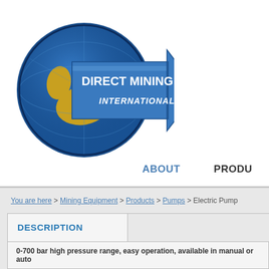[Figure (logo): Direct Mining & Industrial International logo — blue globe with gold landmasses and a large blue arrow pointing right with company name text]
ABOUT   PRODU
You are here > Mining Equipment > Products > Pumps > Electric Pump
ELECTRIC PUMP
| DESCRIPTION |  |
| --- | --- |
| 0-700 bar high pressure range, easy operation, available in manual or auto |  |